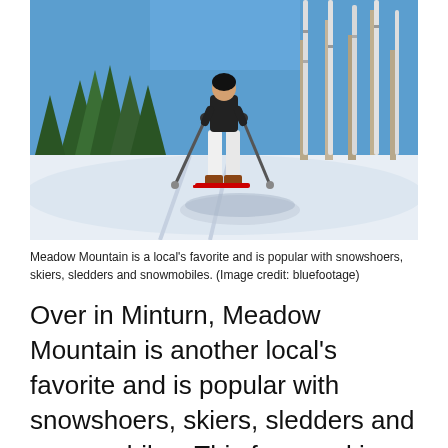[Figure (photo): A person skiing on a snowy slope with ski poles, wearing white pants and a dark jacket, with birch trees and evergreens in the background on a sunny day.]
Meadow Mountain is a local's favorite and is popular with snowshoers, skiers, sledders and snowmobiles. (Image credit: bluefootage)
Over in Minturn, Meadow Mountain is another local's favorite and is popular with snowshoers, skiers, sledders and snowmobiles. This former ski resort is fondly known as “mellow mountain” owing to its gentle climbing and is big enough that while it’s popular, you can always pick your own route and enjoy some solitude. The only evidence of the former